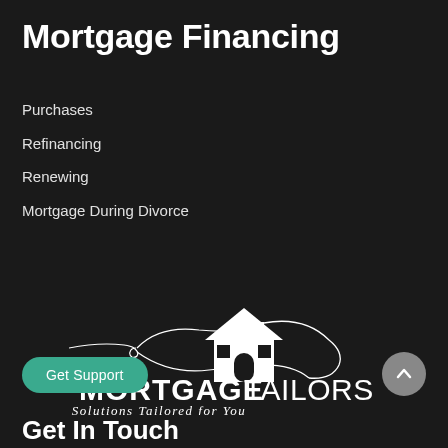Mortgage Financing
Purchases
Refinancing
Renewing
Mortgage During Divorce
[Figure (logo): Mortgage Tailors logo — white house/roof illustration above bold text MORTGAGETAILORS with tagline 'Solutions Tailored for You' on dark background]
Get Support
Get In Touch